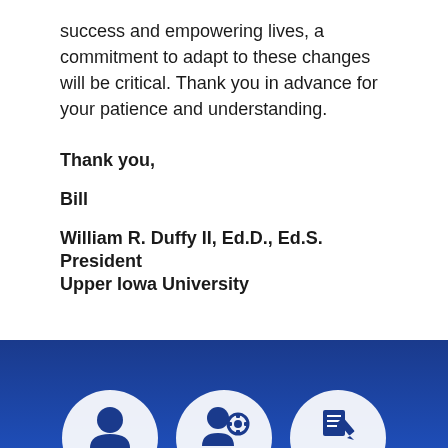success and empowering lives, a commitment to adapt to these changes will be critical. Thank you in advance for your patience and understanding.
Thank you,
Bill
William R. Duffy II, Ed.D., Ed.S.
President
Upper Iowa University
[Figure (illustration): Dark blue footer banner with three white icons: a person/user icon, a person with a gear/settings icon, and a document edit icon, partially visible at the bottom of the page.]